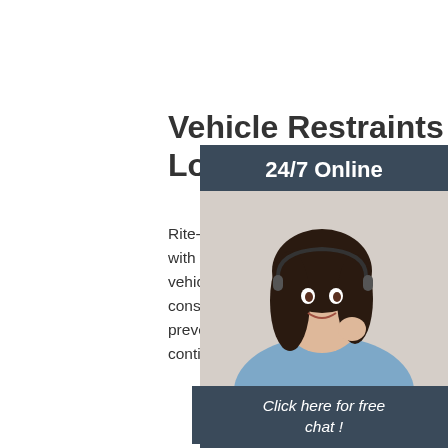Vehicle Restraints & Dock Locks - Vehicle Restraint
Rite-Hite created the vehicle restraint industry with the introduction of the original Dok-Lo vehicle restraint on April 22, 1980. Offering constant light communication while helping prevent trailer separation accidents, Dok-L continue to provide the highest quality of .
[Figure (photo): Customer service representative with headset, part of 24/7 Online chat sidebar with dark blue background and orange QUOTATION button]
Get Price
24/7 Online
Click here for free chat !
QUOTATION